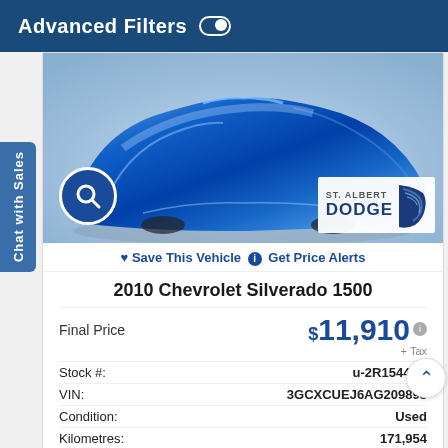Advanced Filters
[Figure (photo): Blue cloth-draped vehicle with St. Albert Dodge dealer logo and search icon overlay]
♥ Save This Vehicle  ℹ Get Price Alerts
2010 Chevrolet Silverado 1500
| Field | Value |
| --- | --- |
| Final Price | $11,910 + Tax |
| Stock #: | u-2R15448C |
| VIN: | 3GCXCUEJ6AG209898 |
| Condition: | Used |
| Kilometres: | 171,954 |
| Body Style: | Crew Cab |
[Figure (logo): CARFAX Canada logo with NO REPORTED and ONE labels]